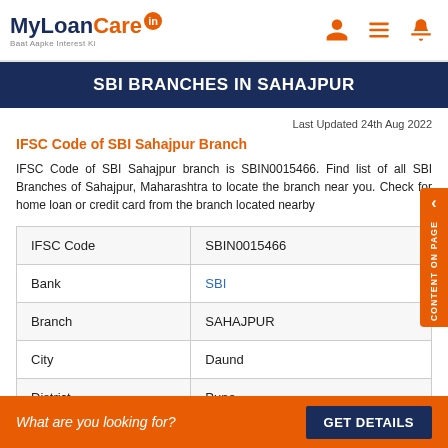MyLoanCare.in Baat Aapke Interest Ki
SBI BRANCHES IN SAHAJPUR
Last Updated 24th Aug 2022
IFSC Code of SBI Sahajpur Branch
IFSC Code of SBI Sahajpur branch is SBIN0015466. Find list of all SBI Branches of Sahajpur, Maharashtra to locate the branch near you. Check for home loan or credit card from the branch located nearby
| IFSC Code | SBIN0015466 |
| Bank | SBI |
| Branch | SAHAJPUR |
| City | Daund |
| District | Pune |